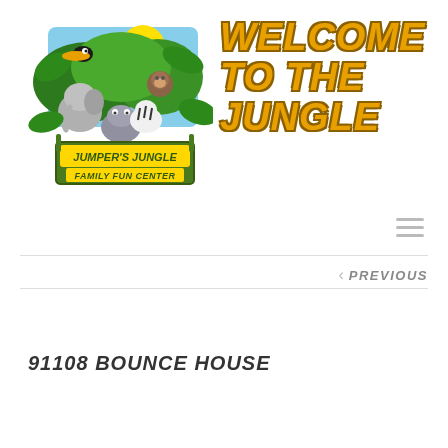[Figure (logo): Jumper's Jungle Family Fun Center logo with cartoon jungle animals (elephant, hippo, toucan, monkey, zebra) surrounded by tropical foliage]
WELCOME TO THE JUNGLE
[Figure (other): Hamburger menu icon (three horizontal lines)]
< PREVIOUS
91108 BOUNCE HOUSE